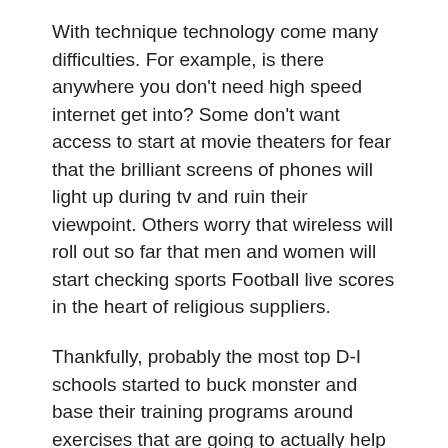With technique technology come many difficulties. For example, is there anywhere you don't need high speed internet get into? Some don't want access to start at movie theaters for fear that the brilliant screens of phones will light up during tv and ruin their viewpoint. Others worry that wireless will roll out so far that men and women will start checking sports Football live scores in the heart of religious suppliers.
Thankfully, probably the most top D-I schools started to buck monster and base their training programs around exercises that are going to actually help football – The Powerlifts, the Olympic Lifts, as well as accessory techniques.
15. Constantly change bars and handles on your